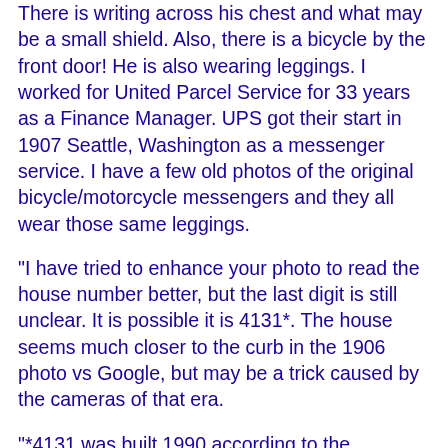There is writing across his chest and what may be a small shield. Also, there is a bicycle by the front door! He is also wearing leggings. I worked for United Parcel Service for 33 years as a Finance Manager. UPS got their start in 1907 Seattle, Washington as a messenger service. I have a few old photos of the original bicycle/motorcycle messengers and they all wear those same leggings.
"I have tried to enhance your photo to read the house number better, but the last digit is still unclear. It is possible it is 4131*. The house seems much closer to the curb in the 1906 photo vs Google, but may be a trick caused by the cameras of that era.
"*4131 was built 1990 according to the Assessor's Office, but I think that is because of the recent addition and it is a 3 family with 17 rooms, 6 Bdrms and 6 Baths."
After I responded commending his work, Pete wrote back saying:
"Another goodie: 1920 Jane 42 (s/b 72) a widow b. Austria